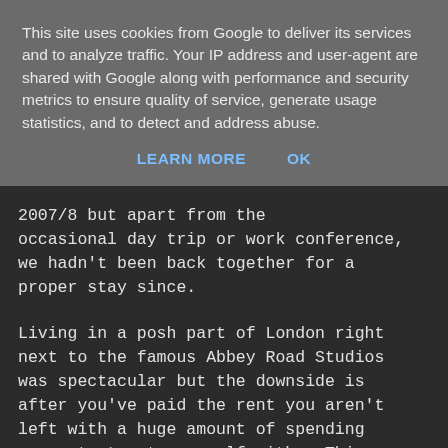This site uses cookies from Google to deliver its services and to analyze traffic. Your IP address and user-agent are shared with Google along with performance and security metrics to ensure quality of service, generate usage statistics, and to detect and address abuse.
LEARN MORE   OK
2007/8 but apart from the occasional day trip or work conference, we hadn't been back together for a proper stay since.
Living in a posh part of London right next to the famous Abbey Road Studios was spectacular but the downside is after you've paid the rent you aren't left with a huge amount of spending money to treat yourself with.  This meant that there were tons of